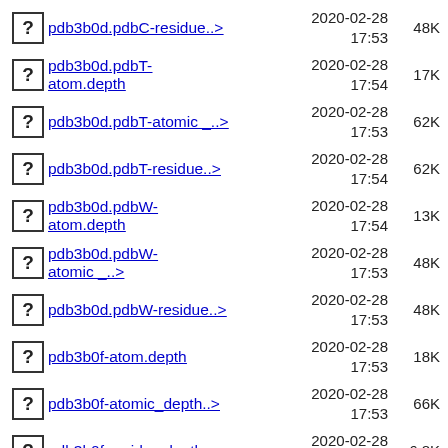pdb3b0d.pdbC-residue..> 2020-02-28 17:53 48K
pdb3b0d.pdbT-atom.depth 2020-02-28 17:54 17K
pdb3b0d.pdbT-atomic_..> 2020-02-28 17:53 62K
pdb3b0d.pdbT-residue..> 2020-02-28 17:54 62K
pdb3b0d.pdbW-atom.depth 2020-02-28 17:54 13K
pdb3b0d.pdbW-atomic_..> 2020-02-28 17:53 48K
pdb3b0d.pdbW-residue..> 2020-02-28 17:53 48K
pdb3b0f-atom.depth 2020-02-28 17:53 18K
pdb3b0f-atomic_depth..> 2020-02-28 17:53 66K
pdb3b0f-residue.depth 2020-02-28 17:53 6.8K
pdb3b0f-residue_dept..> 2020-02-28 17:54 66K
pdb3b0f-... 2020-02-28